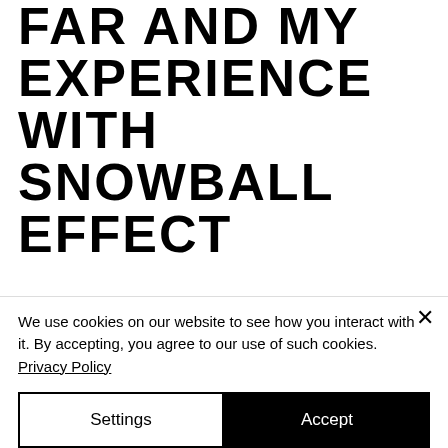FAR AND MY EXPERIENCE WITH SNOWBALL EFFECT
Finding a job in social impact can be an unclear path. Leaving a stable job and career to pursue something new is challenging - it can test your confidence and make you doubt your skills and
We use cookies on our website to see how you interact with it. By accepting, you agree to our use of such cookies. Privacy Policy